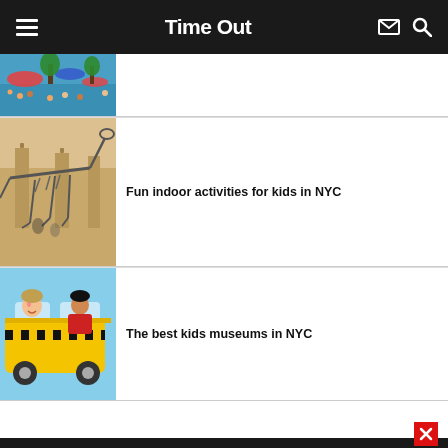Time Out
[Figure (photo): Aerial view of a crowded outdoor pool area with colorful umbrellas and trees]
[Figure (photo): Dinosaur skeleton exhibit inside a museum with grand columns]
Fun indoor activities for kids in NYC
[Figure (photo): Child smiling and peeking out of a yellow taxi cab toy at a kids museum]
The best kids museums in NYC